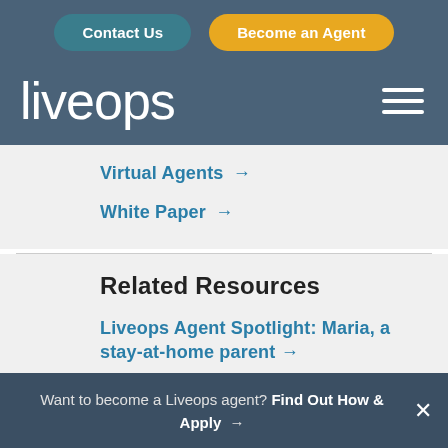Contact Us | Become an Agent
liveops
Virtual Agents →
White Paper →
Related Resources
Liveops Agent Spotlight: Maria, a stay-at-home parent →
Want to become a Liveops agent? Find Out How & Apply →